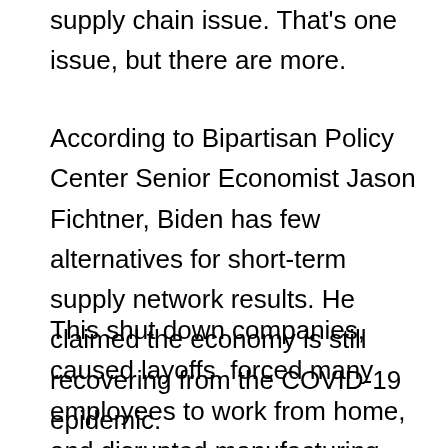supply chain issue. That's one issue, but there are more.
According to Bipartisan Policy Center Senior Economist Jason Fichtner, Biden has few alternatives for short-term supply network results. He claimed the economy is still recovering from the COVID-19 epidemic.
This shut down companies, caused layoffs, forced many employees to work from home, and disrupted manufacturing. According to Fichtner, firms are helping to ease supply chain constraints by increasing compensation and benefits for employees.